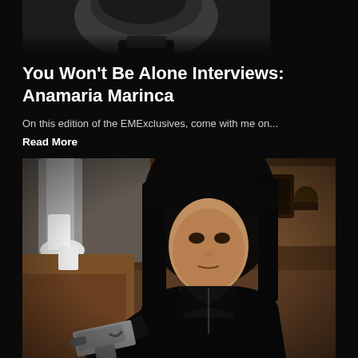[Figure (photo): Partial black and white photo of a person, cropped showing lower face/neck area against dark background]
You Won't Be Alone Interviews: Anamaria Marinca
On this edition of the EMExclusives, come with me on...
Read More
[Figure (photo): A woman with dark black hair wearing a black leather jacket, holding a gun and pointing it forward. Background shows a blurred office/room setting with another person visible in the background.]